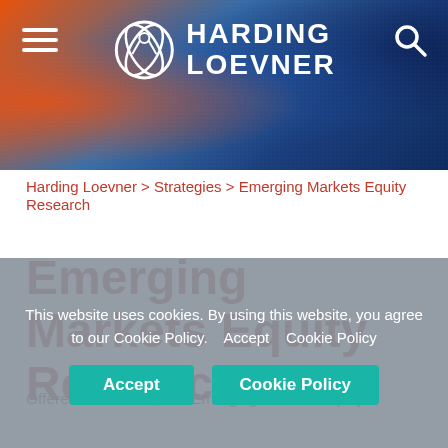[Figure (photo): Harding Loevner website header banner with logo, hamburger menu, and search icon on a blue/orange background]
Harding Loevner > Strategies > Emerging Markets Equity Research
Emerging Markets Equity Research
Offered since 2016, the Emerging Markets Equity Research strategy invests in high-quality emerging markets. Companies of all sizes, offering more of the assets in emerging markets equities universe. Research analysts recommended by: marking the MSCI...
This website uses cookies. By using this website, you agree to our Cookie Policy.  Accept  Cookie Policy